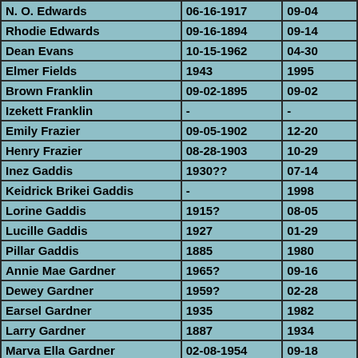| Name | Birth Date | Death Date |
| --- | --- | --- |
| N. O. Edwards | 06-16-1917 | 09-04 |
| Rhodie Edwards | 09-16-1894 | 09-14 |
| Dean Evans | 10-15-1962 | 04-30 |
| Elmer Fields | 1943 | 1995 |
| Brown Franklin | 09-02-1895 | 09-02 |
| Izekett Franklin | - | - |
| Emily Frazier | 09-05-1902 | 12-20 |
| Henry Frazier | 08-28-1903 | 10-29 |
| Inez Gaddis | 1930?? | 07-14 |
| Keidrick Brikei Gaddis | - | 1998 |
| Lorine Gaddis | 1915? | 08-05 |
| Lucille Gaddis | 1927 | 01-29 |
| Pillar Gaddis | 1885 | 1980 |
| Annie Mae Gardner | 1965? | 09-16 |
| Dewey Gardner | 1959? | 02-28 |
| Earsel Gardner | 1935 | 1982 |
| Larry Gardner | 1887 | 1934 |
| Marva Ella Gardner | 02-08-1954 | 09-18 |
| Mary Ella "Mae Ella" Gardner | 1920? | 11-21 |